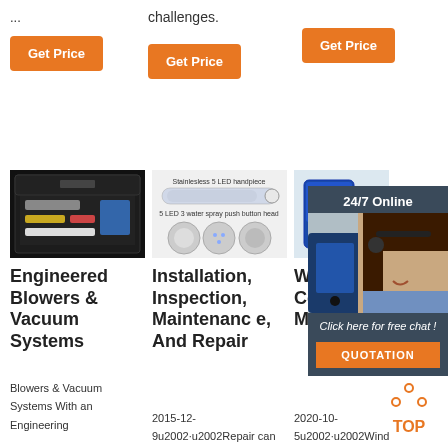...
challenges.
Get Price
Get Price
Get Price
[Figure (photo): Black case with tools/instruments inside]
[Figure (photo): Stainless 5 LED handpiece dental tool]
[Figure (photo): 24/7 Online chat support representative with headset]
Engineered Blowers & Vacuum Systems
Blowers & Vacuum Systems With an Engineering
Installation, Inspection, Maintenance, And Repair
2015-12-9u2002·u2002Repair can take the
Wind Turbine Control Methods - NI
2020-10-5u2002·u2002Wind turbine control is
Click here for free chat !
QUOTATION